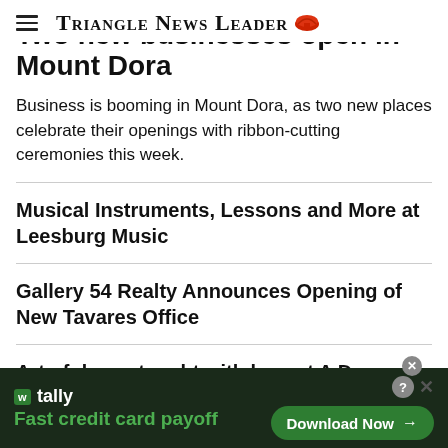Triangle News Leader
Two new businesses open in Mount Dora
Business is booming in Mount Dora, as two new places celebrate their openings with ribbon-cutting ceremonies this week.
Musical Instruments, Lessons and More at Leesburg Music
Gallery 54 Realty Announces Opening of New Tavares Office
Art of dance taught with love at A Dancer's Place
Leesburg Dance Centre Offers Fall Dance Programs
[Figure (screenshot): Tally app advertisement banner: 'Fast credit card payoff' with Download Now button]